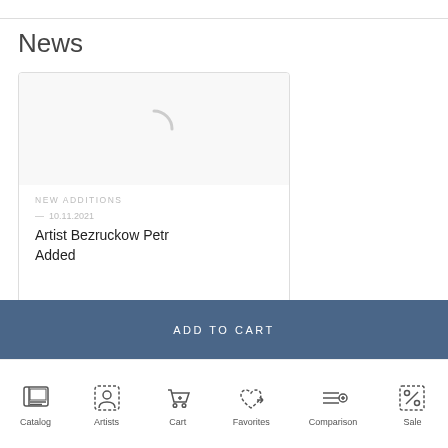News
[Figure (screenshot): News card showing a loading spinner image placeholder, category label NEW ADDITIONS, date — 10.11.2021, and headline Artist Bezruckow Petr Added]
NEW ADDITIONS
— 10.11.2021
Artist Bezruckow Petr Added
ADD TO CART
Catalog  Artists  Cart  Favorites  Comparison  Sale